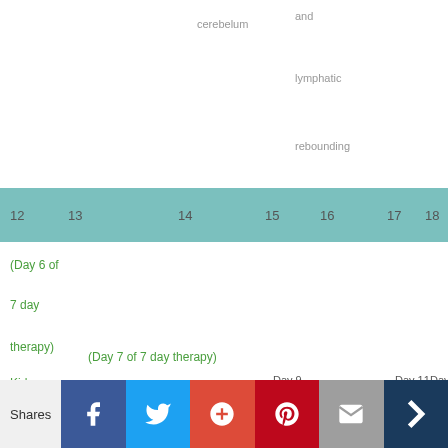cerebelum
and
lymphatic
rebounding
| 12 | 13 | 14 | 15 | 16 | 17 | 18 |
| --- | --- | --- | --- | --- | --- | --- |
| (Day 6 of | (Day 7 of 7 day therapy) | Day 8 | Day 9 | Day 10 | Day 11 | Day 12 |
| 7 day | Kidneys need extra | No Remedies | No | No Remedies | No | No |
| therapy) | support not working |  | Remedies |  | Remedies | Remedi |
| Kidneys |  |  |  |  |  |  |
| need extra |  |  |  |  |  |  |
| support | correctly |  |  |  |  |  |
Shares